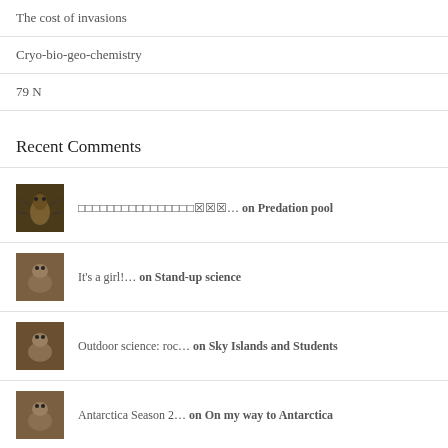The cost of invasions
Cryo-bio-geo-chemistry
79 N
Recent Comments
… on Predation pool
It's a girl!… on Stand-up science
Outdoor science: roc… on Sky Islands and Students
Antarctica Season 2… on On my way to Antarctica
Antarctica Season 2… on Who lives in cryoconite holes?